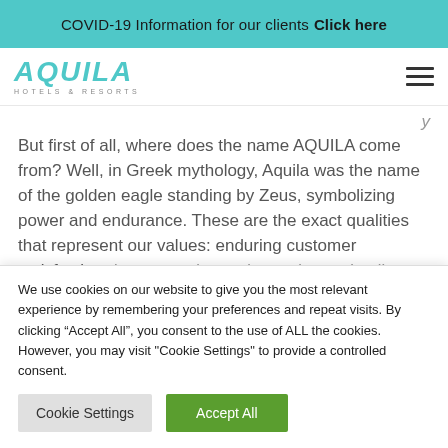COVID-19 Information for our clients Click here
[Figure (logo): AQUILA Hotels & Resorts logo in teal italic text with hamburger menu icon]
But first of all, where does the name AQUILA come from? Well, in Greek mythology, Aquila was the name of the golden eagle standing by Zeus, symbolizing power and endurance. These are the exact qualities that represent our values: enduring customer satisfaction, luxury service and attention to detail, highlighted
We use cookies on our website to give you the most relevant experience by remembering your preferences and repeat visits. By clicking “Accept All”, you consent to the use of ALL the cookies. However, you may visit "Cookie Settings" to provide a controlled consent.